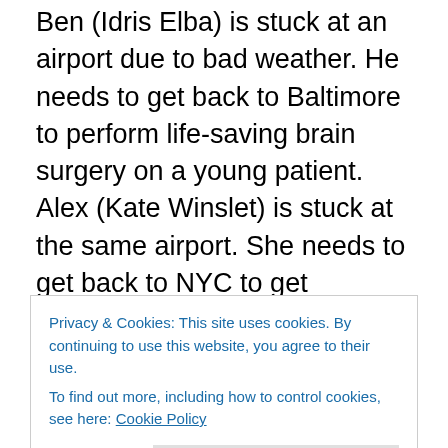Ben (Idris Elba) is stuck at an airport due to bad weather. He needs to get back to Baltimore to perform life-saving brain surgery on a young patient. Alex (Kate Winslet) is stuck at the same airport. She needs to get back to NYC to get married. She comes up with some ingenious lateral thinking. They should charter a small propellor plane to do the short hop to Colorado where they can make connecting flights. Walter (Beau Bridges) flew missions into Vietnam with people shooting at him, what's the worst thing that could happen in a bit of bad weather? I mean apart from Walter having a stroke at the controls? And
Privacy & Cookies: This site uses cookies. By continuing to use this website, you agree to their use.
To find out more, including how to control cookies, see here: Cookie Policy
Mountain Between Us, and some very nice shots by